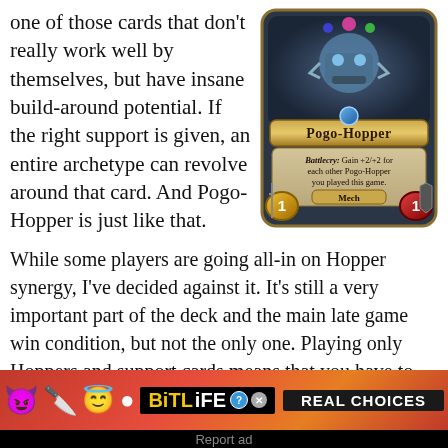one of those cards that don't really work well by themselves, but have insane build-around potential. If the right support is given, an entire archetype can revolve around that card. And Pogo-Hopper is just like that.
[Figure (illustration): Hearthstone card: Pogo-Hopper. Battlecry: Gain +2/+2 for each other Pogo-Hopper you played this game. Type: Mech. Cost: 1. Attack: 1. Health: 1.]
While some players are going all-in on Hopper synergy, I've decided against it. It's still a very important part of the deck and the main late game win condition, but not the only one. Playing only Hoppers and support cards means that you have to sacrifice a lot of good cards, including ways to survive in the early game. You also rely
[Figure (advertisement): BitLife Real Choices advertisement banner with emojis (devil, person with knife, angel, sperm) on red background.]
Report ad